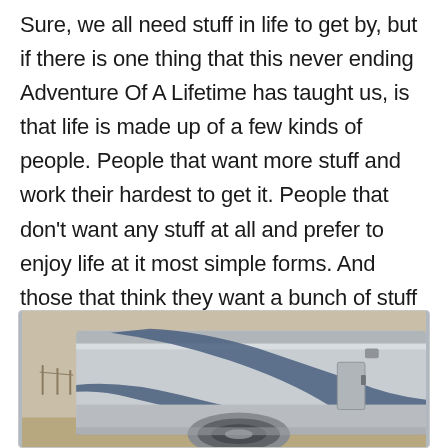Sure, we all need stuff in life to get by, but if there is one thing that this never ending Adventure Of A Lifetime has taught us, is that life is made up of a few kinds of people. People that want more stuff and work their hardest to get it. People that don't want any stuff at all and prefer to enjoy life at it most simple forms. And those that think they want a bunch of stuff at the beginning, realize it didn't make them happy, and get rid of all the stuff.
[Figure (photo): Side view of a large silver and blue RV/motorhome parked on a dirt/desert surface. The RV has a curved blue graphic stripe design on its silver exterior. Partial view showing the side panel, wheel well, and front section.]